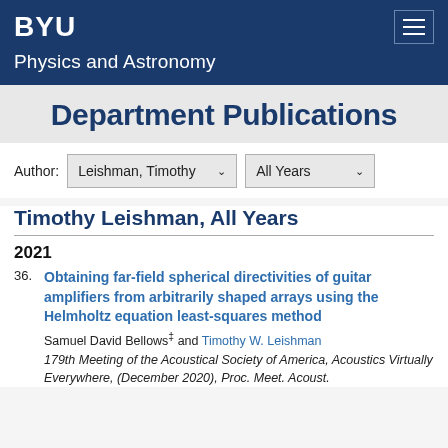BYU — Physics and Astronomy
Department Publications
Author: Leishman, Timothy  All Years
Timothy Leishman, All Years
2021
36. Obtaining far-field spherical directivities of guitar amplifiers from arbitrarily shaped arrays using the Helmholtz equation least-squares method. Samuel David Bellows‡ and Timothy W. Leishman. 179th Meeting of the Acoustical Society of America, Acoustics Virtually Everywhere, (December 2020), Proc. Meet. Acoust.